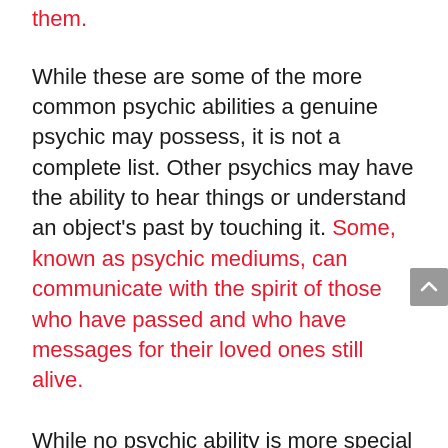them.
While these are some of the more common psychic abilities a genuine psychic may possess, it is not a complete list. Other psychics may have the ability to hear things or understand an object's past by touching it. Some, known as psychic mediums, can communicate with the spirit of those who have passed and who have messages for their loved ones still alive.
While no psychic ability is more special or important than any others, the ones listed are those most commonly used for readings
Ask The Psychic About Their